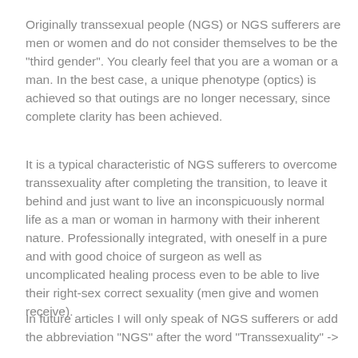Originally transsexual people (NGS) or NGS sufferers are men or women and do not consider themselves to be the "third gender". You clearly feel that you are a woman or a man. In the best case, a unique phenotype (optics) is achieved so that outings are no longer necessary, since complete clarity has been achieved.
It is a typical characteristic of NGS sufferers to overcome transsexuality after completing the transition, to leave it behind and just want to live an inconspicuously normal life as a man or woman in harmony with their inherent nature. Professionally integrated, with oneself in a pure and with good choice of surgeon as well as uncomplicated healing process even to be able to live their right-sex correct sexuality (men give and women receive).
In future articles I will only speak of NGS sufferers or add the abbreviation "NGS" after the word "Transsexuality" -> correspondingly also in the other forms of transsexuality.